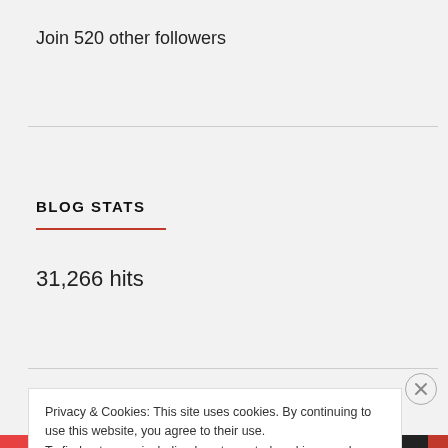Join 520 other followers
BLOG STATS
31,266 hits
Privacy & Cookies: This site uses cookies. By continuing to use this website, you agree to their use.
To find out more, including how to control cookies, see here: Cookie Policy
Close and accept